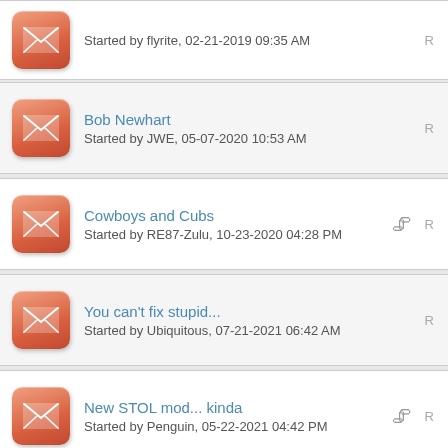Started by flyrite, 02-21-2019 09:35 AM
Bob Newhart
Started by JWE, 05-07-2020 10:53 AM
Cowboys and Cubs
Started by RE87-Zulu, 10-23-2020 04:28 PM
You can't fix stupid...
Started by Ubiquitous, 07-21-2021 06:42 AM
New STOL mod... kinda
Started by Penguin, 05-22-2021 04:42 PM
Go Fun Me
Started by aktango58, 03-16-2021 10:37 PM